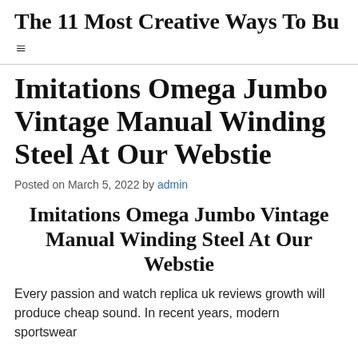The 11 Most Creative Ways To Bu…
Imitations Omega Jumbo Vintage Manual Winding Steel At Our Webstie
Posted on March 5, 2022 by admin
Imitations Omega Jumbo Vintage Manual Winding Steel At Our Webstie
Every passion and watch replica uk reviews growth will produce cheap sound. In recent years, modern sportswear